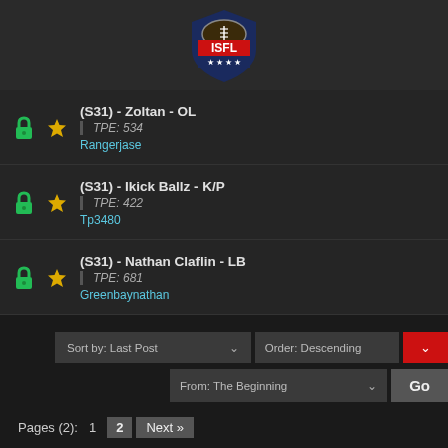[Figure (logo): ISFL (Indoor Simulated Football League) logo - shield shape with football, red banner with ISFL text, blue stars at bottom]
(S31) - Zoltan - OL
TPE: 534
Rangerjase
(S31) - Ikick Ballz - K/P
TPE: 422
Tp3480
(S31) - Nathan Claflin - LB
TPE: 681
Greenbaynathan
Sort by: Last Post
Order: Descending
From: The Beginning
Go
Pages (2):  1  2  Next »